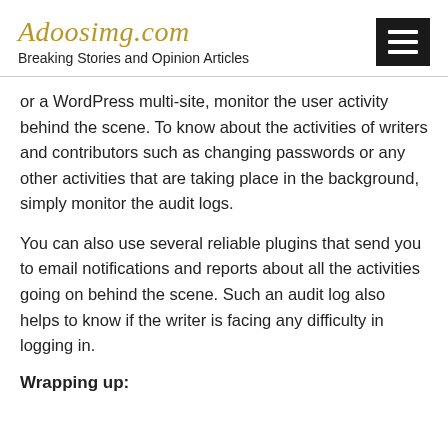Adoosimg.com
Breaking Stories and Opinion Articles
or a WordPress multi-site, monitor the user activity behind the scene. To know about the activities of writers and contributors such as changing passwords or any other activities that are taking place in the background, simply monitor the audit logs.
You can also use several reliable plugins that send you to email notifications and reports about all the activities going on behind the scene. Such an audit log also helps to know if the writer is facing any difficulty in logging in.
Wrapping up: